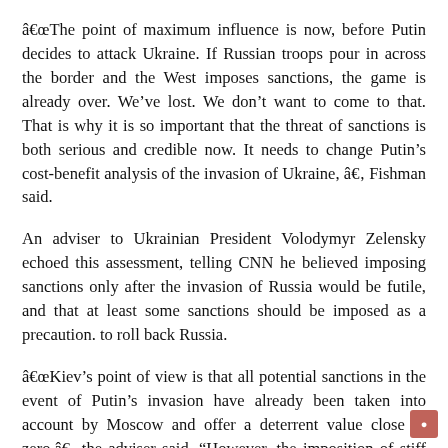“The point of maximum influence is now, before Putin decides to attack Ukraine. If Russian troops pour in across the border and the West imposes sanctions, the game is already over. We’ve lost. We don’t want to come to that. That is why it is so important that the threat of sanctions is both serious and credible now. It needs to change Putin’s cost-benefit analysis of the invasion of Ukraine, â€  Fishman said.
An adviser to Ukrainian President Volodymyr Zelensky echoed this assessment, telling CNN he believed imposing sanctions only after the invasion of Russia would be futile, and that at least some sanctions should be imposed as a precaution. to roll back Russia.
“Kiev’s point of view is that all potential sanctions in the event of Putin’s invasion have already been taken into account by Moscow and offer a deterrent value close to zero,â€  the adviser said. “However, the imposition of stiff sanctions now – with rollback provisions built in if Russia takes concrete steps to defuse – has a chance to work.”